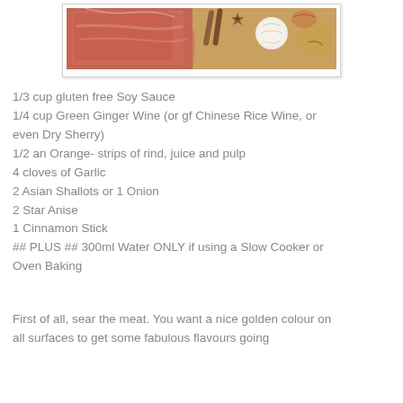[Figure (photo): Photo of raw meat in plastic packaging alongside garlic, ginger, star anise, cinnamon sticks, and onions on a wooden surface.]
1/3 cup gluten free Soy Sauce
1/4 cup Green Ginger Wine (or gf Chinese Rice Wine, or even Dry Sherry)
1/2 an Orange- strips of rind, juice and pulp
4 cloves of Garlic
2 Asian Shallots or 1 Onion
2 Star Anise
1 Cinnamon Stick
## PLUS ## 300ml Water ONLY if using a Slow Cooker or Oven Baking
First of all, sear the meat. You want a nice golden colour on all surfaces to get some fabulous flavours going